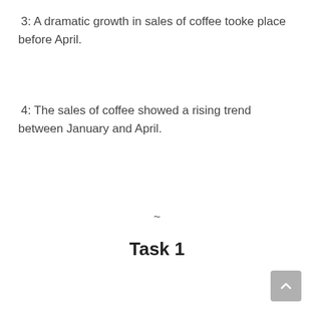3: A dramatic growth in sales of coffee tooke place before April.
4: The sales of coffee showed a rising trend between January and April.
~
Task 1